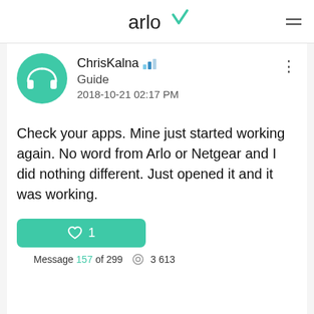arlo
ChrisKalna · Guide · 2018-10-21 02:17 PM
Check your apps. Mine just started working again. No word from Arlo or Netgear and I did nothing different. Just opened it and it was working.
♡ 1
Message 157 of 299  3 613